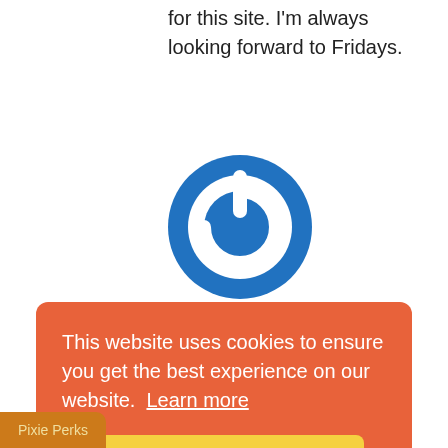for this site. I'm always looking forward to Fridays.
[Figure (logo): Blue circular power button icon — a circle with a power symbol (finger/crescent shape) in white on a blue background]
Susan C
November 29, 2018
Thank you so much for the patterns. All are
This website uses cookies to ensure you get the best experience on our website. Learn more
Got it!
Pixie Perks